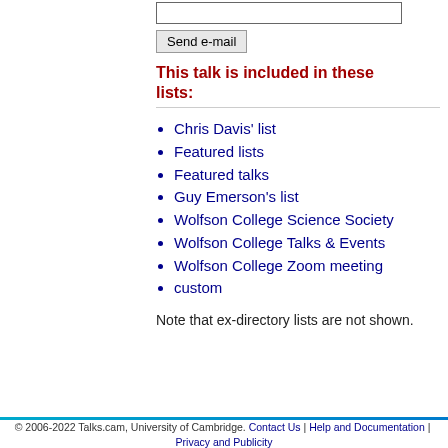This talk is included in these lists:
Chris Davis' list
Featured lists
Featured talks
Guy Emerson's list
Wolfson College Science Society
Wolfson College Talks & Events
Wolfson College Zoom meeting
custom
Note that ex-directory lists are not shown.
© 2006-2022 Talks.cam, University of Cambridge. Contact Us | Help and Documentation | Privacy and Publicity